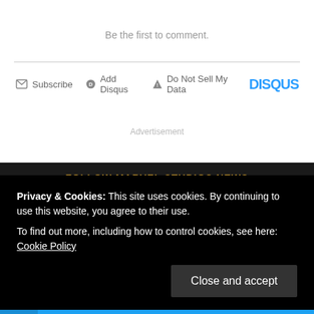Be the first to comment.
Subscribe  Add Disqus  Do Not Sell My Data  DISQUS
Advertisement
FOLLOW MARVEL STUDIOS NEWS
Follow on Spotify
Follow on Twitter
Privacy & Cookies: This site uses cookies. By continuing to use this website, you agree to their use.
To find out more, including how to control cookies, see here: Cookie Policy
Close and accept